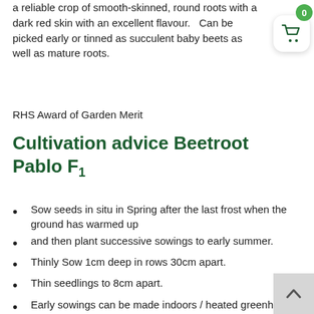a reliable crop of smooth-skinned, round roots with a dark red skin with an excellent flavour.   Can be picked early or tinned as succulent baby beets as well as mature roots.
RHS Award of Garden Merit
Cultivation advice Beetroot Pablo F1
Sow seeds in situ in Spring after the last frost when the ground has warmed up
and then plant successive sowings to early summer.
Thinly Sow 1cm deep in rows 30cm apart.
Thin seedlings to 8cm apart.
Early sowings can be made indoors / heated greenhouse in modules /
trays and planted out at 5cm tall after all risk of frost has passed.
Pre soaking seed in warm water 0.5 – 1 hour before sowing will speed up germination.